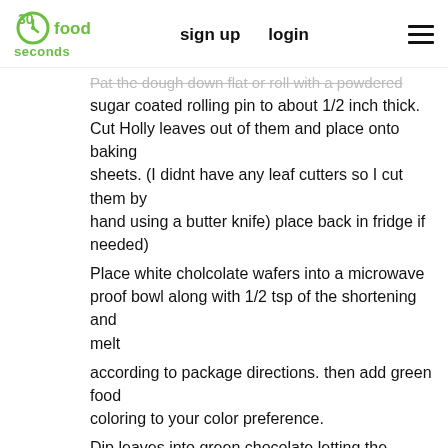30 seconds food | sign up | login
Pat the dough down flat or roll with a powdered sugar coated rolling pin to about 1/2 inch thick. Cut Holly leaves out of them and place onto baking sheets. (I didnt have any leaf cutters so I cut them by hand using a butter knife) place back in fridge if needed)
Place white cholcolate wafers into a microwave proof bowl along with 1/2 tsp of the shortening and melt
according to package directions. then add green food coloring to your color preference.
Dip leaves into green chocolate letting the access drip back into the bowl and place the coated leaf back onto the sheet pan. Place into fridge to cool.
Roll out several tiny balls and melt a little bit of white chocolate and color red for the holly berries.
I rolled approximately 30 leaves to make my wreath.
The remainder of the dough I made regular balls and